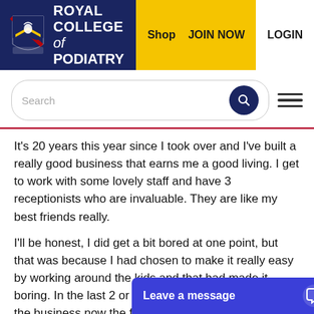[Figure (logo): Royal College of Podiatry logo with crest and navigation bar including Shop, JOIN NOW, LOGIN]
[Figure (screenshot): Search bar with magnifying glass icon and hamburger menu]
It's 20 years this year since I took over and I've built a really good business that earns me a good living.  I get to work with some lovely staff and have 3 receptionists who are invaluable. They are like my best friends really.
I'll be honest, I did get a bit bored at one point, but that was because I had chosen to make it really easy by working around the kids and that had made it boring. In the last 2 or 3 years I've got more time for the business now the family have grown up so I decided to change things and make it a better practice. My enthusiasm has soared,  I love pushing [myself out] of my comfort zone. Wh[...]
[Figure (screenshot): Blue chat widget button with text 'Leave a message' and chat icon]